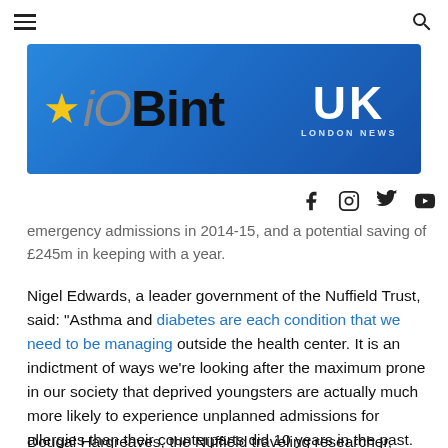iOBint UK LONDON NEWS
[Figure (logo): iOBint UK London News logo banner on blue gradient background with star icon]
emergency admissions in 2014-15, and a potential saving of £245m in keeping with a year.
Nigel Edwards, a leader government of the Nuffield Trust, said: "Asthma and diabetes are each condition that we need to be managing outside the health center. It is an indictment of ways we're looking after the maximum prone in our society that deprived youngsters are actually much more likely to experience unplanned admissions for allergies than their counterparts did 10 years in the past.
Dougal Hargreaves, the Nuffield traveling researcher, stated: "Breathing space can mean health facility…